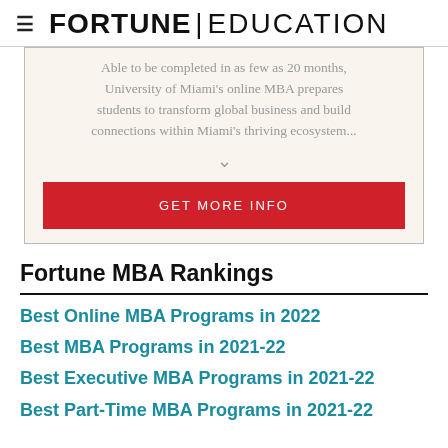≡ FORTUNE | EDUCATION
Able to be completed in as few as 20 months, University of Miami's online MBA prepares students to transform global business and build connections within Miami's thriving ecosystem...
GET MORE INFO
Fortune MBA Rankings
Best Online MBA Programs in 2022
Best MBA Programs in 2021-22
Best Executive MBA Programs in 2021-22
Best Part-Time MBA Programs in 2021-22